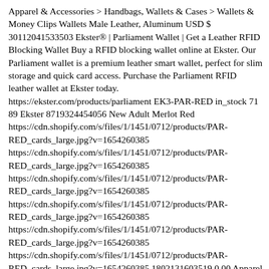Apparel & Accessories > Handbags, Wallets & Cases > Wallets & Money Clips Wallets Male Leather, Aluminum USD $ 30112041533503 Ekster® | Parliament Wallet | Get a Leather RFID Blocking Wallet Buy a RFID blocking wallet online at Ekster. Our Parliament wallet is a premium leather smart wallet, perfect for slim storage and quick card access. Purchase the Parliament RFID leather wallet at Ekster today. https://ekster.com/products/parliament EK3-PAR-RED in_stock 71 89 Ekster 8719324454056 New Adult Merlot Red https://cdn.shopify.com/s/files/1/1451/0712/products/PAR-RED_cards_large.jpg?v=1654260385 https://cdn.shopify.com/s/files/1/1451/0712/products/PAR-RED_cards_large.jpg?v=1654260385 https://cdn.shopify.com/s/files/1/1451/0712/products/PAR-RED_cards_large.jpg?v=1654260385 https://cdn.shopify.com/s/files/1/1451/0712/products/PAR-RED_cards_large.jpg?v=1654260385 https://cdn.shopify.com/s/files/1/1451/0712/products/PAR-RED_cards_large.jpg?v=1654260385 https://cdn.shopify.com/s/files/1/1451/0712/products/PAR-RED_cards_large.jpg?v=1654260385 1802131603519 0.00 Apparel & Accessories > Handbags, Wallets & Cases > Wallets & Money Clips Wallets Male Leather, Aluminum USD $ 39688790442047 Ekster® | Parliament Wallet | Get a Leather RFID Blocking Wallet Buy a RFID blocking wallet online at